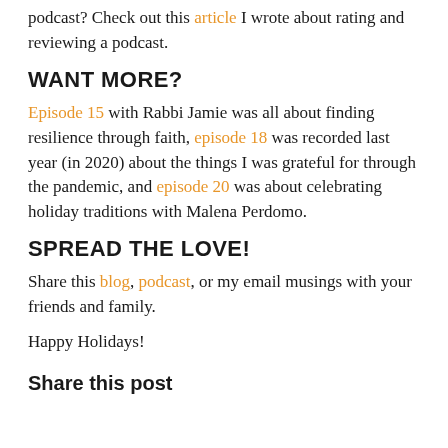podcast? Check out this article I wrote about rating and reviewing a podcast.
WANT MORE?
Episode 15 with Rabbi Jamie was all about finding resilience through faith, episode 18 was recorded last year (in 2020) about the things I was grateful for through the pandemic, and episode 20 was about celebrating holiday traditions with Malena Perdomo.
SPREAD THE LOVE!
Share this blog, podcast, or my email musings with your friends and family.
Happy Holidays!
Share this post